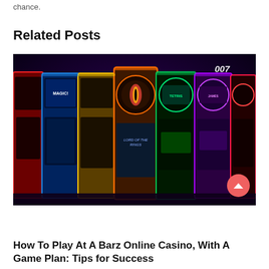chance.
Related Posts
[Figure (photo): A row of colorful slot machines with glowing screens in a dark casino setting, including themed machines for 007 and Lord of the Rings.]
How To Play At A Barz Online Casino, With A Game Plan: Tips for Success